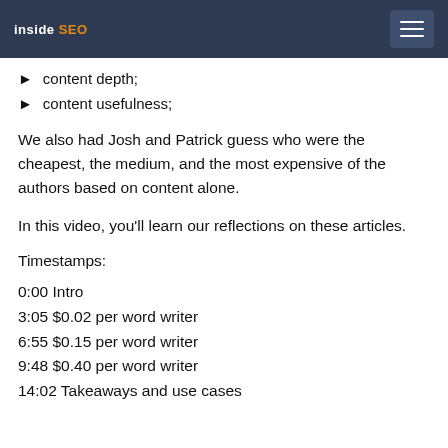inside SEO
content depth;
content usefulness;
We also had Josh and Patrick guess who were the cheapest, the medium, and the most expensive of the authors based on content alone.
In this video, you'll learn our reflections on these articles.
Timestamps:
0:00 Intro
3:05 $0.02 per word writer
6:55 $0.15 per word writer
9:48 $0.40 per word writer
14:02 Takeaways and use cases